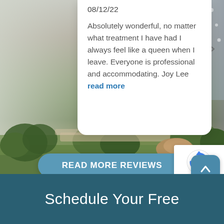[Figure (photo): Background photo of an outdoor spa or pool area with lush green plants, stone elements, and a building with windows visible on the left. A water feature or fountain is visible on the right side.]
08/12/22
Absolutely wonderful, no matter what treatment I have had I always feel like a queen when I leave. Everyone is professional and accommodating. Joy Lee read more
READ MORE REVIEWS
Schedule Your Free